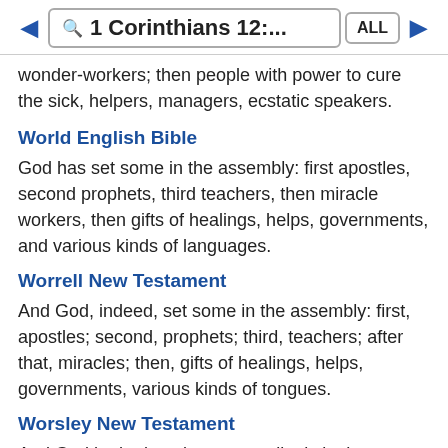1 Corinthians 12:... ALL
wonder-workers; then people with power to cure the sick, helpers, managers, ecstatic speakers.
World English Bible
God has set some in the assembly: first apostles, second prophets, third teachers, then miracle workers, then gifts of healings, helps, governments, and various kinds of languages.
Worrell New Testament
And God, indeed, set some in the assembly: first, apostles; second, prophets; third, teachers; after that, miracles; then, gifts of healings, helps, governments, various kinds of tongues.
Worsley New Testament
And God hath placed you accordingly in the church, first apostles, secondly prophets, thirdly teachers, after that miraculous powers, then gifts of healing, helps,